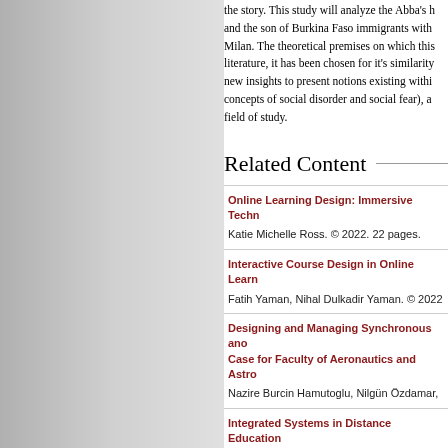the story. This study will analyze the Abba's h and the son of Burkina Faso immigrants with Milan. The theoretical premises on which this literature, it has been chosen for it's similarity new insights to present notions existing withi concepts of social disorder and social fear), a field of study.
Related Content
Online Learning Design: Immersive Techn
Katie Michelle Ross. © 2022. 22 pages.
Interactive Course Design in Online Learn
Fatih Yaman, Nihal Dulkadir Yaman. © 2022
Designing and Managing Synchronous ano Case for Faculty of Aeronautics and Astro
Nazire Burcin Hamutoglu, Nilgün Özdamar,
Integrated Systems in Distance Education
Gurhan Durak, Serkan Cankaya, Omer Anil I
Asynchronous Environments in Online Co Recommendations
Bariş Mercimek, Cansu Çaka. © 2022. 21 pa
Online Course Design Tips for Boosting L